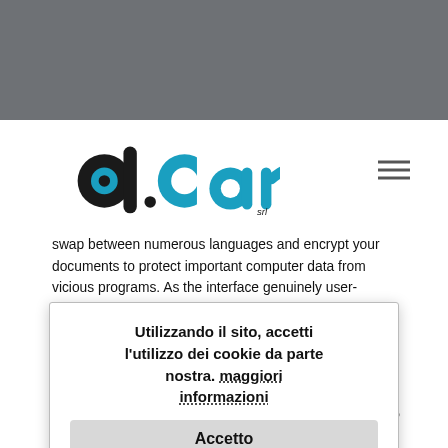[Figure (logo): d.car srl logo with blue and black lettering and hamburger menu icon]
swap between numerous languages and encrypt your documents to protect important computer data from vicious programs. As the interface genuinely user-friendly, you can actually navigate.
You can configure Norton Family unit on your PC and on your children's devices via a tiny local agent. You can set up profiles for every child and install the app on each of their device. That supports Home windows, iOS, Android, and last but not macOS. You may manage child profiles and monitor apps associated with your Home windows user accounts, minimizes the risk of the loss of important info. And it will detect your laptop or computer when it's in use. You can also modify the features per individual child.
Utilizzando il sito, accetti l'utilizzo dei cookie da parte nostra. maggiori informazioni
Accetto